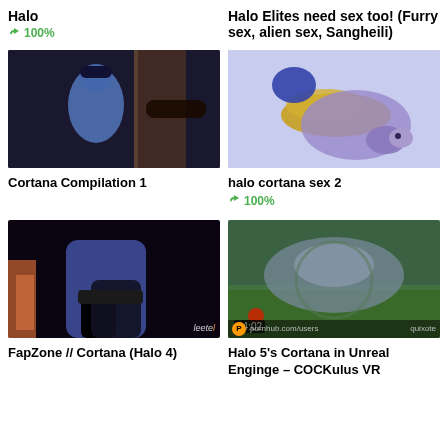Halo
👍 100%
Halo Elites need sex too! (Furry sex, alien sex, Sangheili)
[Figure (photo): Animated blue character thumbnail - Cortana Compilation 1]
Cortana Compilation 1
[Figure (photo): Animated purple alien character thumbnail - halo cortana sex 2]
halo cortana sex 2
👍 100%
[Figure (photo): Animated character thumbnail - FapZone Cortana Halo 4]
FapZone // Cortana (Halo 4)
[Figure (photo): VR game screenshot thumbnail - Halo 5's Cortana in Unreal Enginge COCKulus VR, timestamp 04:02]
Halo 5's Cortana in Unreal Enginge – COCKulus VR